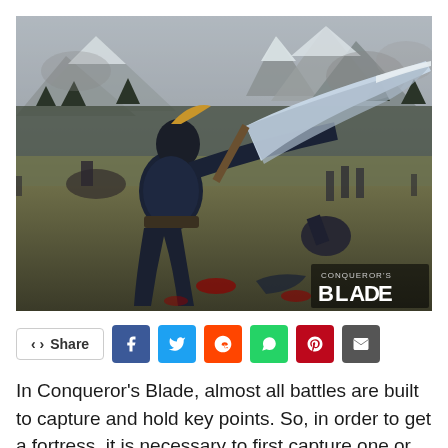[Figure (screenshot): Game screenshot from Conqueror's Blade showing armored warriors fighting in a battlefield with snowy mountains in the background. The Conqueror's Blade logo appears in the bottom-right corner.]
Share [social sharing buttons: Facebook, Twitter, Reddit, WhatsApp, Pinterest, Email]
In Conqueror's Blade, almost all battles are built to capture and hold key points. So, in order to get a fortress, it is necessary to first capture one or several control points from the defenders and only